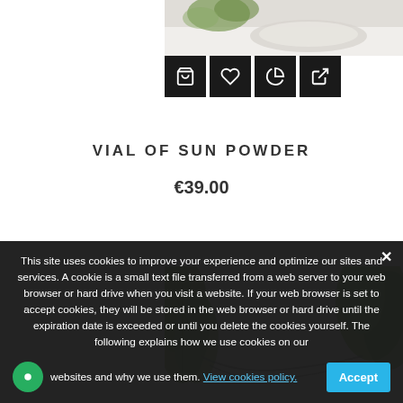[Figure (photo): Top portion of a product image showing a plate/bowl with plant leaves on a white background, partially visible at top of page]
[Figure (other): Row of four dark icon buttons: shopping bag, heart, pie chart, and share/export icon]
VIAL OF SUN POWDER
€39.00
[Figure (photo): Product image showing green bamboo or hemp leaves and a dark necklace/chain on a white background]
This site uses cookies to improve your experience and optimize our sites and services. A cookie is a small text file transferred from a web server to your web browser or hard drive when you visit a website. If your web browser is set to accept cookies, they will be stored in the web browser or hard drive until the expiration date is exceeded or until you delete the cookies yourself. The following explains how we use cookies on our websites and why we use them. View cookies policy.
Accept